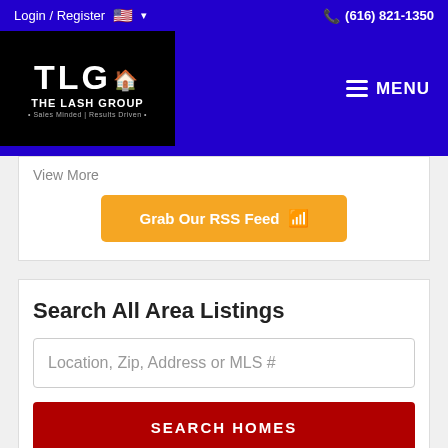Login / Register  🇺🇸 ▾  (616) 821-1350
[Figure (logo): TLG The Lash Group logo — white text on black background with red house icon, tagline: Sales Minded | Results Driven]
☰ MENU
View More
Grab Our RSS Feed 📶
Search All Area Listings
Location, Zip, Address or MLS #
SEARCH HOMES
nced Search